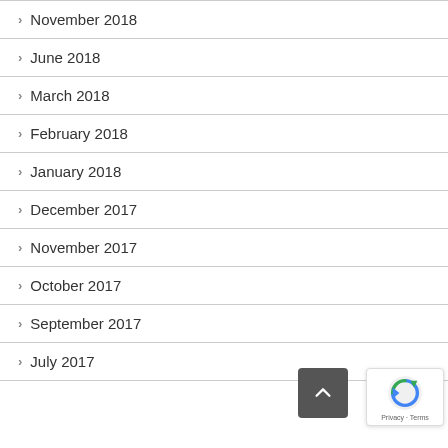November 2018
June 2018
March 2018
February 2018
January 2018
December 2017
November 2017
October 2017
September 2017
July 2017